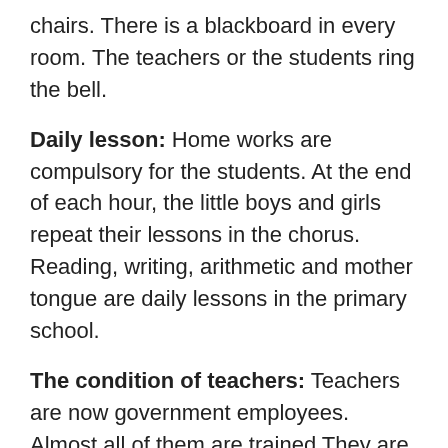chairs. There is a blackboard in every room. The teachers or the students ring the bell.
Daily lesson: Home works are compulsory for the students. At the end of each hour, the little boys and girls repeat their lessons in the chorus. Reading, writing, arithmetic and mother tongue are daily lessons in the primary school.
The condition of teachers: Teachers are now government employees. Almost all of them are trained They are given a good salary. But most of them are not regular and responsible. They come and go at will.
The condition of students: Students age five to eleven are generally admitted into a primary school. Most of them are poor. They are in dirty